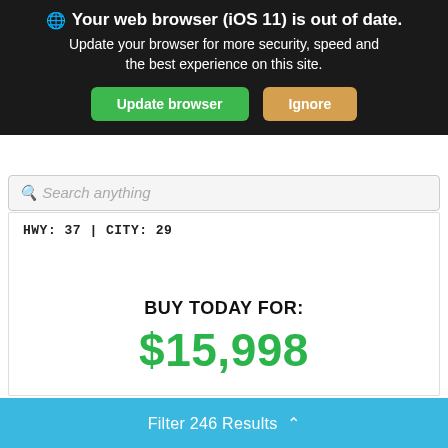Your web browser (iOS 11) is out of date. Update your browser for more security, speed and the best experience on this site.
Update browser
Ignore
Search anything
HWY: 37 | CITY: 29
BUY TODAY FOR:
$15,998
GET MY TRADE VALUE
GET PRE-APPRO...
Value Your Trade
Filter 246 Results ^